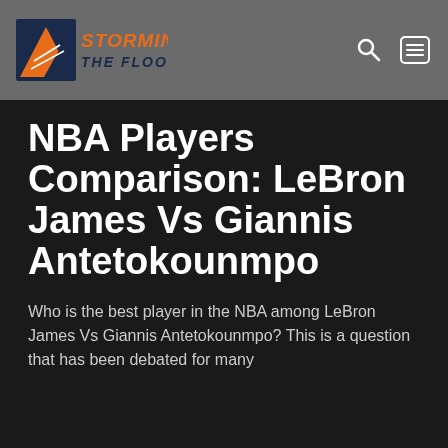Storming The Floor
NBA Players Comparison: LeBron James Vs Giannis Antetokounmpo
Who is the best player in the NBA among LeBron James Vs Giannis Antetokounmpo? This is a question that has been debated for many